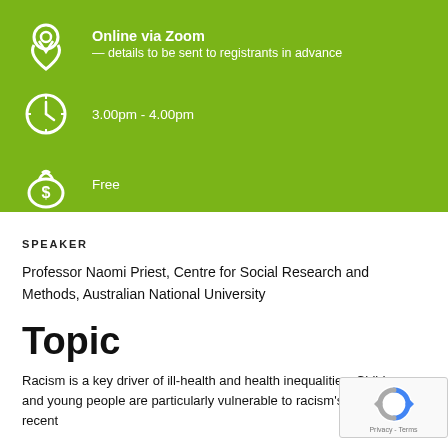[Figure (infographic): Green banner with three rows of white icons and text: location pin icon with 'Online via Zoom — details to be sent to registrants in advance', clock icon with '3.00pm - 4.00pm', money bag icon with 'Free']
SPEAKER
Professor Naomi Priest, Centre for Social Research and Methods, Australian National University
Topic
Racism is a key driver of ill-health and health inequalities. Children and young people are particularly vulnerable to racism's harms. A recent